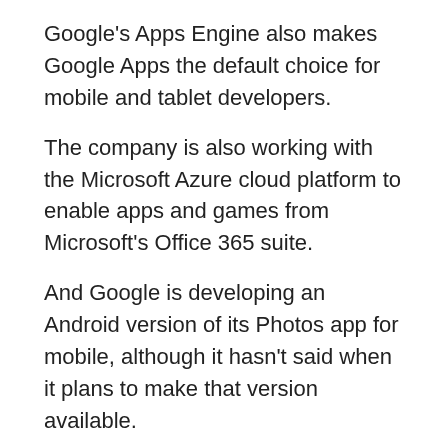Google's Apps Engine also makes Google Apps the default choice for mobile and tablet developers.
The company is also working with the Microsoft Azure cloud platform to enable apps and games from Microsoft's Office 365 suite.
And Google is developing an Android version of its Photos app for mobile, although it hasn't said when it plans to make that version available.
Apple's App Store has long been a popular destination for app developers, and its app developer tools have made it easier for developers to build apps for the Apple platform.
But Microsoft is slowly adding developers to the App Store as it moves toward making it a more open platform.